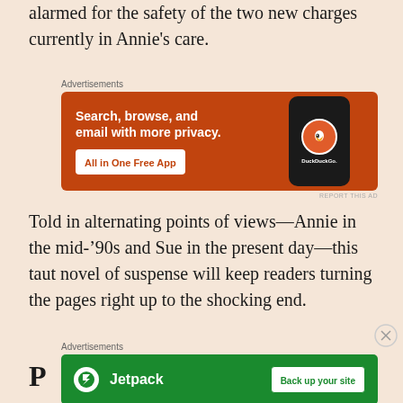alarmed for the safety of the two new charges currently in Annie's care.
[Figure (other): DuckDuckGo advertisement: orange background with phone showing DuckDuckGo logo. Text: 'Search, browse, and email with more privacy. All in One Free App']
Told in alternating points of views—Annie in the mid-'90s and Sue in the present day—this taut novel of suspense will keep readers turning the pages right up to the shocking end.
[Figure (other): Jetpack advertisement: green background with Jetpack logo. Text: 'Jetpack' and button 'Back up your site']